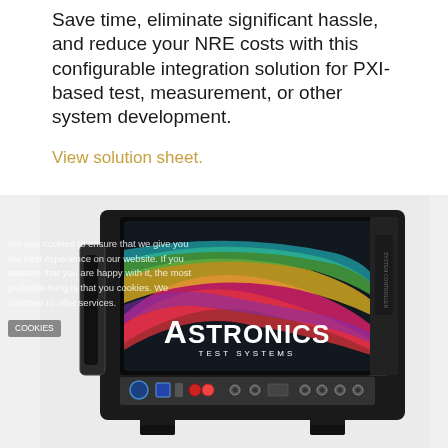Save time, eliminate significant hassle, and reduce your NRE costs with this configurable integration solution for PXI-based test, measurement, or other system development.
View solution sheet.
[Figure (photo): Astronics Test Systems PXI-based test equipment device — a rack-mounted unit with a large display showing colorful ribbon-like graphics and the Astronics Test Systems logo, with various connectors on the front panel and side handles.]